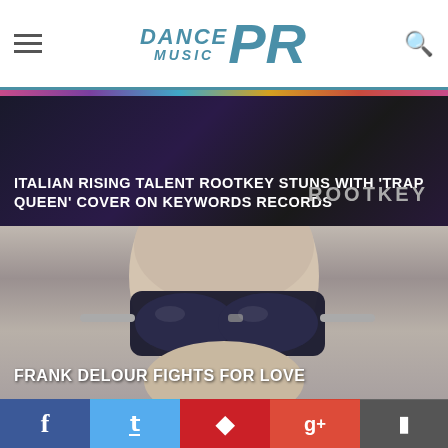Dance Music PR
[Figure (photo): Dark promotional banner for Rootkey with text overlay on dark purple/black background]
ITALIAN RISING TALENT ROOTKEY STUNS WITH 'TRAP QUEEN' COVER ON KEYWORDS RECORDS
[Figure (photo): Close-up photo of bald person wearing large aviator sunglasses]
FRANK DELOUR FIGHTS FOR LOVE
PROMOTED POSTS
[Figure (photo): Thumbnail image of concert crowd with blue and purple stage lighting]
IBIZA GLOBAL RADIO, LUCIANO & NIC FANCIULLI LEAD THE WAY FOR SUSTAINABILITY IN IBIZA